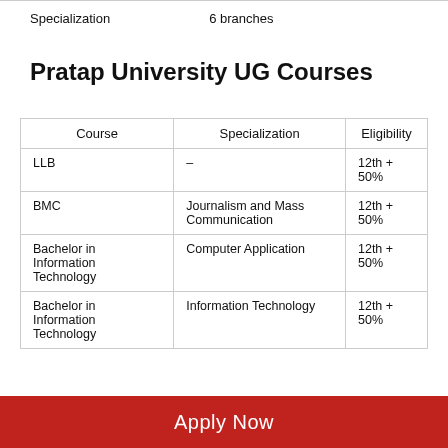|  |  |
| --- | --- |
| Specialization | 6 branches |
Pratap University UG Courses
| Course | Specialization | Eligibility |
| --- | --- | --- |
| LLB | – | 12th + 50% |
| BMC | Journalism and Mass Communication | 12th + 50% |
| Bachelor in Information Technology | Computer Application | 12th + 50% |
| Bachelor in Information Technology | Information Technology | 12th + 50% |
Apply Now